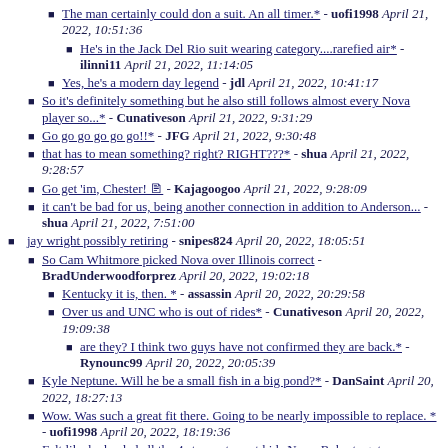The man certainly could don a suit. An all timer.* - uofi1998 April 21, 2022, 10:51:36
He's in the Jack Del Rio suit wearing category....rarefied air* - ilinni11 April 21, 2022, 11:14:05
Yes, he's a modern day legend - jdl April 21, 2022, 10:41:17
So it's definitely something but he also still follows almost every Nova player so...* - Cunativeson April 21, 2022, 9:31:29
Go go go go go go!!* - JFG April 21, 2022, 9:30:48
that has to mean something? right? RIGHT???* - shua April 21, 2022, 9:28:57
Go get 'im, Chester! 🖊 - Kajagoogoo April 21, 2022, 9:28:09
it can't be bad for us, being another connection in addition to Anderson... - shua April 21, 2022, 7:51:00
jay wright possibly retiring - snipes824 April 20, 2022, 18:05:51
So Cam Whitmore picked Nova over Illinois correct - BradUnderwoodforprez April 20, 2022, 19:02:18
Kentucky it is, then. * - assassin April 20, 2022, 20:29:58
Over us and UNC who is out of rides* - Cunativeson April 20, 2022, 19:09:38
are they? I think two guys have not confirmed they are back.* - Rynounc99 April 20, 2022, 20:05:39
Kyle Neptune. Will he be a small fish in a big pond?* - DanSaint April 20, 2022, 18:27:13
Wow. Was such a great fit there. Going to be nearly impossible to replace. * - uofi1998 April 20, 2022, 18:19:36
Felt like he landed all the 4 star east coast kids Norm Roberts got